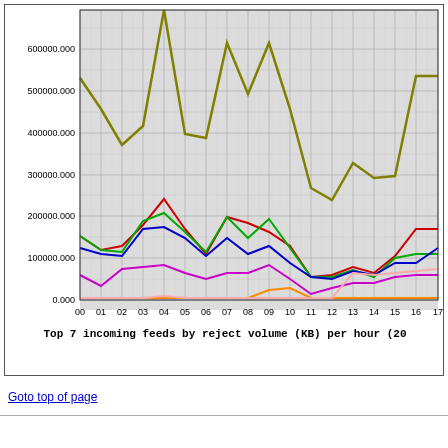[Figure (line-chart): Multi-line chart showing top 7 incoming feeds by reject volume (KB) per hour. X-axis hours 00-17, Y-axis 0 to ~700000.]
Goto top of page